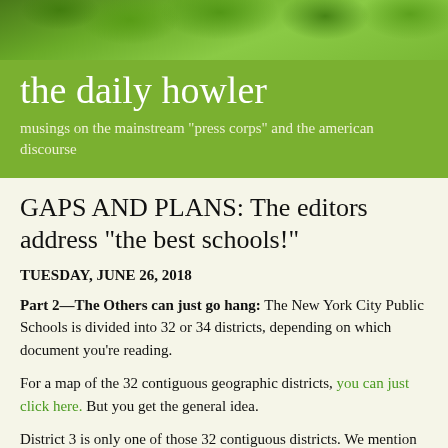[Figure (photo): Green leaves background image at top of page]
the daily howler
musings on the mainstream "press corps" and the american discourse
GAPS AND PLANS: The editors address "the best schools!"
TUESDAY, JUNE 26, 2018
Part 2—The Others can just go hang: The New York City Public Schools is divided into 32 or 34 districts, depending on which document you're reading.
For a map of the 32 contiguous geographic districts, you can just click here. But you get the general idea.
District 3 is only one of those 32 contiguous districts. We mention